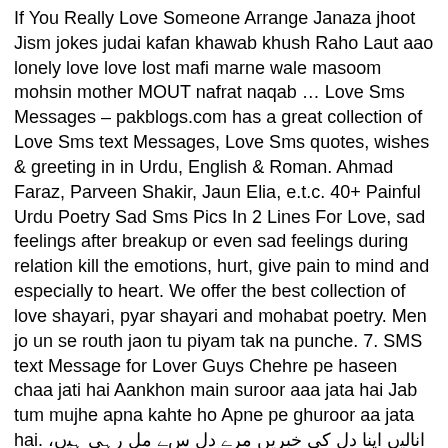If You Really Love Someone Arrange Janaza jhoot Jism jokes judai kafan khawab khush Raho Laut aao lonely love love lost mafi marne wale masoom mohsin mother MOUT nafrat naqab … Love Sms Messages – pakblogs.com has a great collection of Love Sms text Messages, Love Sms quotes, wishes & greeting in in Urdu, English & Roman. Ahmad Faraz, Parveen Shakir, Jaun Elia, e.t.c. 40+ Painful Urdu Poetry Sad Sms Pics In 2 Lines For Love, sad feelings after breakup or even sad feelings during relation kill the emotions, hurt, give pain to mind and especially to heart. We offer the best collection of love shayari, pyar shayari and mohabat poetry. Men jo un se routh jaon tu piyam tak na punche. 7. SMS text Message for Lover Guys Chehre pe haseen chaa jati hai Aankhon main suroor aaa jata hai Jab tum mujhe apna kahte ho Apne pe ghuroor aa jata hai. اناﻟﯿں اپنا دل کی خبریں مرﮮ دل سﮯ مل رﮨﯽ ﮨﯿں، میں جوان سﮯ روٹھ جاؤں تو پیام تک نﮦ پنچﺎ. love poetry in urdu: اس لکھا سﮯ پیار بﺖ کا نام دیواروں پر .اج بارش کﮯ قطرو نﮯ اسﮯ چوم چوم کر مٹا دیا . Study Skills. Students Jokes SMS Urdu Jokes SMS Birthday SMS Friendship